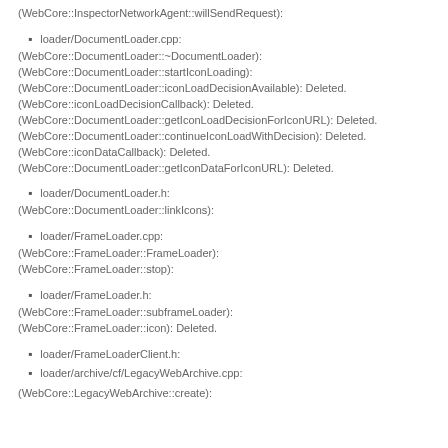(WebCore::InspectorNetworkAgent::willSendRequest):
loader/DocumentLoader.cpp:
(WebCore::DocumentLoader::~DocumentLoader):
(WebCore::DocumentLoader::startIconLoading):
(WebCore::DocumentLoader::iconLoadDecisionAvailable): Deleted.
(WebCore::iconLoadDecisionCallback): Deleted.
(WebCore::DocumentLoader::getIconLoadDecisionForIconURL): Deleted.
(WebCore::DocumentLoader::continueIconLoadWithDecision): Deleted.
(WebCore::iconDataCallback): Deleted.
(WebCore::DocumentLoader::getIconDataForIconURL): Deleted.
loader/DocumentLoader.h:
(WebCore::DocumentLoader::linkIcons):
loader/FrameLoader.cpp:
(WebCore::FrameLoader::FrameLoader):
(WebCore::FrameLoader::stop):
loader/FrameLoader.h:
(WebCore::FrameLoader::subframeLoader):
(WebCore::FrameLoader::icon): Deleted.
loader/FrameLoaderClient.h:
loader/archive/cf/LegacyWebArchive.cpp:
(WebCore::LegacyWebArchive::create):